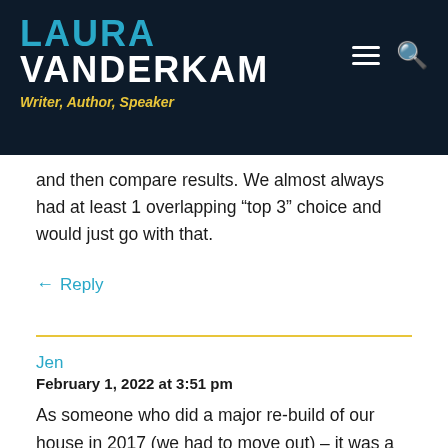LAURA VANDERKAM
Writer, Author, Speaker
and then compare results. We almost always had at least 1 overlapping “top 3” choice and would just go with that.
← Reply
Jen
February 1, 2022 at 3:51 pm
As someone who did a major re-build of our house in 2017 (we had to move out) – it was a lot of work. Many decisions, tons of money, etc but it has been